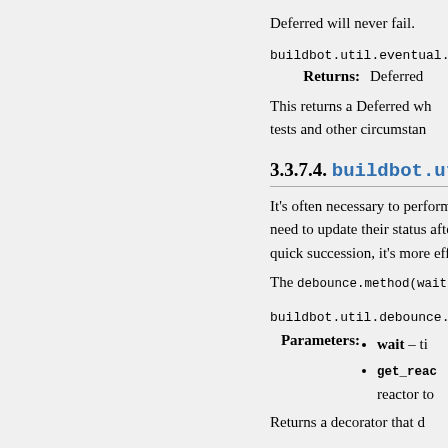Deferred will never fail.
buildbot.util.eventual.flush
Returns: Deferred
This returns a Deferred wh... tests and other circumstan...
3.3.7.4. buildbot.uti...
It's often necessary to perform s... need to update their status afte... quick succession, it's more effic...
The debounce.method(wait) dec...
buildbot.util.debounce.meth...
Parameters: wait – ti... get_reac... reactor to...
Returns a decorator that d...